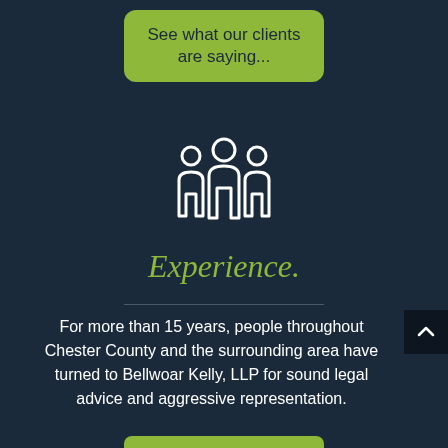See what our clients are saying...
[Figure (illustration): White icon of three people/group silhouettes on dark navy background]
Experience.
For more than 15 years, people throughout Chester County and the surrounding area have turned to Bellwoar Kelly, LLP for sound legal advice and aggressive representation.